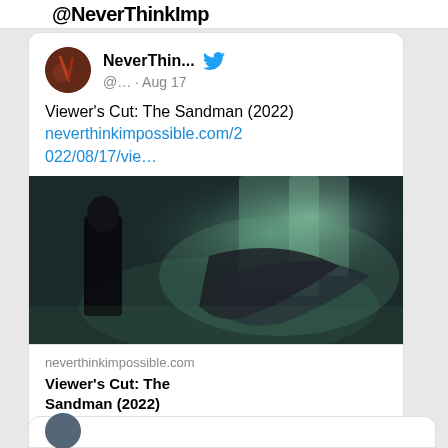@NeverThinkImp
[Figure (screenshot): Twitter/social media post card showing NeverThin... account avatar (circular, dark red/orange tones), username NeverThin... with Twitter bird icon, handle @... · Aug 17, tweet text 'Viewer's Cut: The Sandman (2022)', link neverthinkimpossible.com/2022/08/17/vie…, an attached image of a dark moody scene from The Sandman showing a figure in black against a misty green-blue background, link preview card showing domain neverthinkimpossible.com and title Viewer's Cut: The Sandman (2022), and action icons for comment and like]
[Figure (screenshot): Bottom partial card showing beginning of another tweet with a circular avatar]